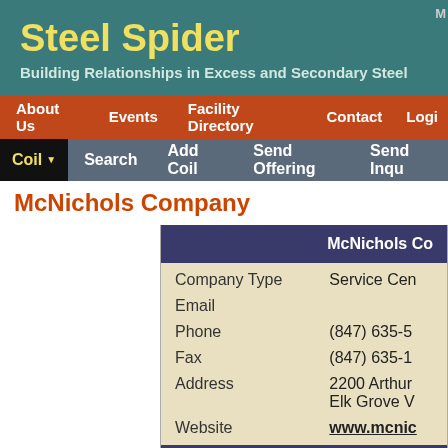Steel Spider
Building Relationships in Excess and Secondary Steel
About Us  Events  Facility Directory  Contact  Login
Coil ▼  Search  Add Coil  Send Offering  Send Inquiry
McNichols Company
|  | McNichols Co... |
| --- | --- |
| Company Type | Service Cen... |
| Email |  |
| Phone | (847) 635-5... |
| Fax | (847) 635-1... |
| Address | 2200 Arthur...
Elk Grove V... |
| Website | www.mcnic... |